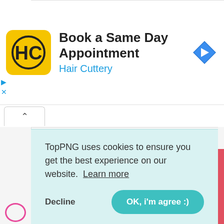[Figure (screenshot): Hair Cuttery ad banner with yellow HC logo, title 'Book a Same Day Appointment', subtitle 'Hair Cuttery', and blue navigation arrow icon on the right. Small play and X controls at lower left.]
[Figure (screenshot): Website content area showing a collapsed accordion tab with an up-chevron button, a white panel area, and left/right sidebars in light gray.]
TopPNG uses cookies to ensure you get the best experience on our website.  Learn more
Decline
OK, i'm agree :)